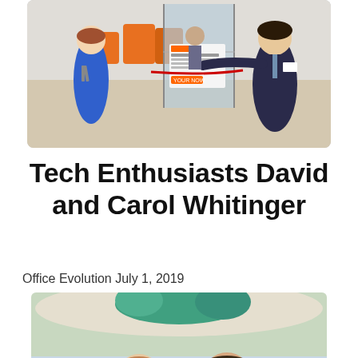[Figure (photo): Photo of a ribbon-cutting ceremony at an office. A woman in a blue dress stands on the left holding scissors, and a man in a suit on the right is gesturing with his arm outstretched. A red ribbon is stretched between them near a glass door with a sign reading 'Designed to One-Business'.]
Tech Enthusiasts David and Carol Whitinger
Office Evolution July 1, 2019
[Figure (photo): Photo of a couple (David and Carol Whitinger) standing together outdoors. The woman on the left wears a blue sleeveless top and the man on the right wears a pink shirt and patterned tie. There is a marina or waterfront visible in the background.]